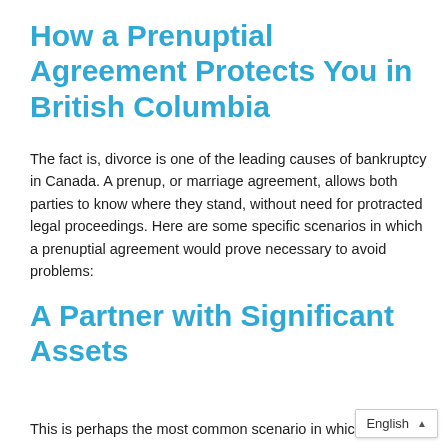How a Prenuptial Agreement Protects You in British Columbia
The fact is, divorce is one of the leading causes of bankruptcy in Canada. A prenup, or marriage agreement, allows both parties to know where they stand, without need for protracted legal proceedings. Here are some specific scenarios in which a prenuptial agreement would prove necessary to avoid problems:
A Partner with Significant Assets
This is perhaps the most common scenario in which a